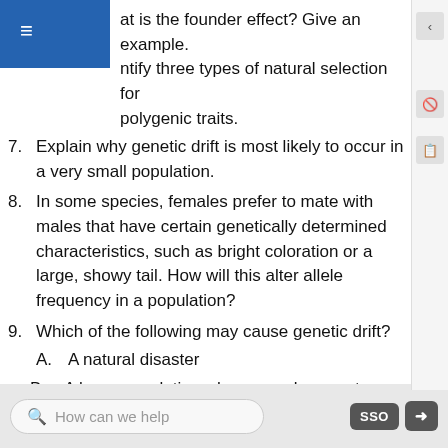at is the founder effect? Give an example.
ntify three types of natural selection for polygenic traits.
7. Explain why genetic drift is most likely to occur in a very small population.
8. In some species, females prefer to mate with males that have certain genetically determined characteristics, such as bright coloration or a large, showy tail. How will this alter allele frequency in a population?
9. Which of the following may cause genetic drift?
A. A natural disaster
B. A large population where members mate with each other and also with new migrants that come into the population.
How can we help